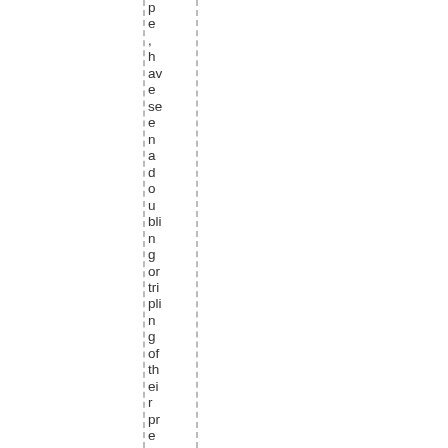pe, have seen a doubling or tripling of their premiums.